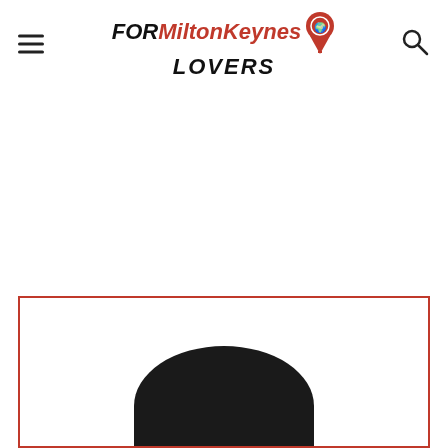FOR MiltonKeynes LOVERS
[Figure (logo): FORMiltonKeynes LOVERS logo with a red location pin icon and text]
[Figure (illustration): Red-bordered box with a dark arc/dome shape visible at the bottom, indicating a partially visible circular logo or image]